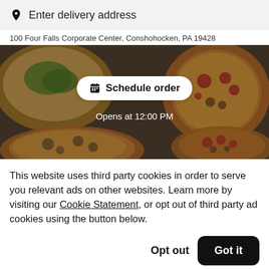Enter delivery address
100 Four Falls Corporate Center, Conshohocken, PA 19428
[Figure (photo): Overhead photo of various pizzas and food dishes on a table, with a 'Schedule order' button overlay and 'Opens at 12:00 PM' text]
This website uses third party cookies in order to serve you relevant ads on other websites. Learn more by visiting our Cookie Statement, or opt out of third party ad cookies using the button below.
Opt out
Got it